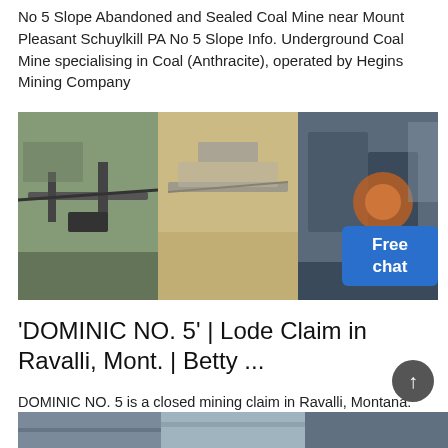No 5 Slope Abandoned and Sealed Coal Mine near Mount Pleasant Schuylkill PA No 5 Slope Info. Underground Coal Mine specialising in Coal (Anthracite), operated by Hegins Mining Company
[Figure (photo): Three side-by-side photos of mining/quarrying equipment and machinery at an outdoor site, with a 'Free chat' button overlay in the bottom right corner.]
'DOMINIC NO. 5' | Lode Claim in Ravalli, Mont. | Betty ...
DOMINIC NO. 5 is a closed mining claim in Ravalli, Montana. Ownership and use of this claim is overseen by the Bureau of Land Management's Missoula Field Office under the serial number MMC37175. The last action for this claim occurred on May 2, 1998.
[Figure (photo): Partial bottom strip showing mining-related outdoor photos, cropped at page bottom.]